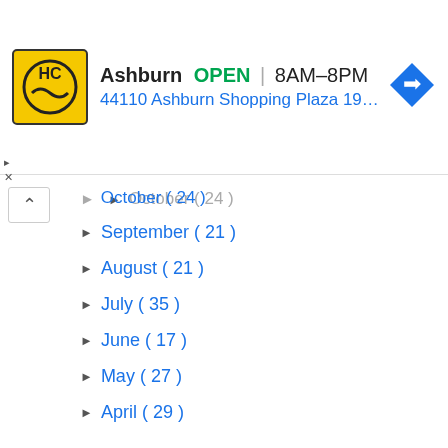[Figure (screenshot): Advertisement banner for HC shop in Ashburn showing logo, OPEN status, hours 8AM-8PM, address 44110 Ashburn Shopping Plaza 190, A..., and a blue navigation arrow icon]
October ( 24 )
September ( 21 )
August ( 21 )
July ( 35 )
June ( 17 )
May ( 27 )
April ( 29 )
March ( 27 )
February ( 26 )
January ( 25 )
Hotel Asphodel Inn, Race Course Road, Singapore
Malaysia Tourist Visa for Indians-Latest process &...
Best place to stay 'INSIDE' Singapore's Changi Air...
TVS XL 100 4 stroke- Most affordable moped now